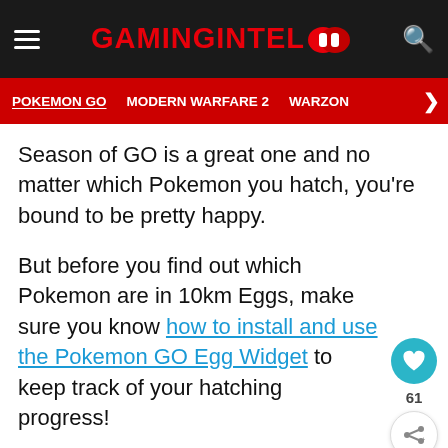GAMINGINTEL
POKEMON GO | MODERN WARFARE 2 | WARZON >
Season of GO is a great one and no matter which Pokemon you hatch, you're bound to be pretty happy.
But before you find out which Pokemon are in 10km Eggs, make sure you know how to install and use the Pokemon GO Egg Widget to keep track of your hatching progress!